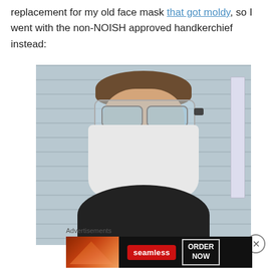replacement for my old face mask that got moldy, so I went with the non-NOISH approved handkerchief instead:
[Figure (photo): Person wearing safety goggles and a white handkerchief as a face mask, standing outdoors in front of gray siding with a white drainpipe visible]
Advertisements
[Figure (other): Seamless food delivery advertisement banner with pizza image on dark background showing 'seamless' logo and 'ORDER NOW' button]